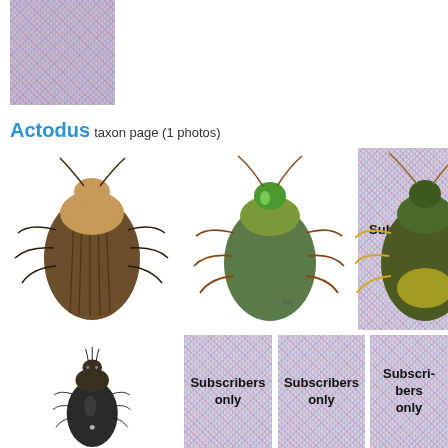[Figure (photo): Colorful noise/static thumbnail image at top left]
Actodus taxon page (1 photos)
[Figure (photo): Dorsal view of a large brown beetle (Actodus species) with ridged elytra]
[Figure (photo): Dorsal view of a green-headed beetle with orange legs]
[Figure (photo): Subscriber only - noise-obscured beetle photo]
[Figure (photo): Dorsal view of a yellow-green beetle with yellow legs]
[Figure (photo): Dorsal view of a large dark/black beetle]
[Figure (photo): Subscribers only - noise-obscured beetle photo]
[Figure (photo): Subscribers only - noise-obscured beetle photo]
[Figure (photo): Subscribers only - noise-obscured beetle photo (partially cropped)]